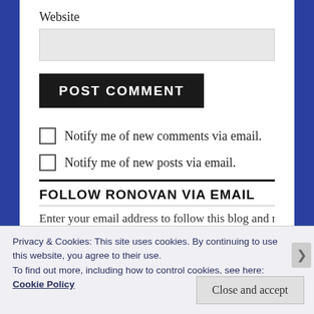Website
[Figure (screenshot): Empty text input box for website URL]
[Figure (screenshot): POST COMMENT button, dark background with white uppercase text]
Notify me of new comments via email.
Notify me of new posts via email.
FOLLOW RONOVAN VIA EMAIL
Enter your email address to follow this blog and receive
Privacy & Cookies: This site uses cookies. By continuing to use this website, you agree to their use.
To find out more, including how to control cookies, see here:
Cookie Policy
Close and accept